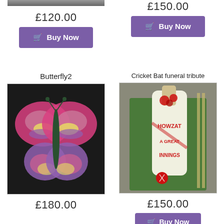[Figure (photo): Partial top of a floral arrangement photo (left column, cropped at top of page)]
£120.00
Buy Now
[Figure (photo): Partial price text at top right, partially cropped: £1XX.XX]
Buy Now
Butterfly2
[Figure (photo): Butterfly floral tribute made of flowers in pink, purple, yellow and white arranged in butterfly wing shapes on dark background]
£180.00
Cricket Bat funeral tribute
[Figure (photo): Cricket bat shaped floral funeral tribute with white flowers, red rose decoration, and text HOWZAT A GREAT INNINGS on a green moss background with a red cricket ball]
£150.00
Buy Now